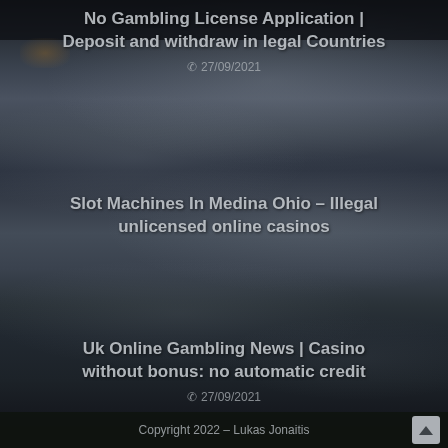No Gambling License Application | Deposit and withdraw in legal Countries
27/09/2021
Slot Machines In Medina Ohio – Illegal unlicensed online casinos
Uk Online Gambling News | Casino without bonus: no automatic credit
27/09/2021
Copyright 2022 – Lukas Jonaitis